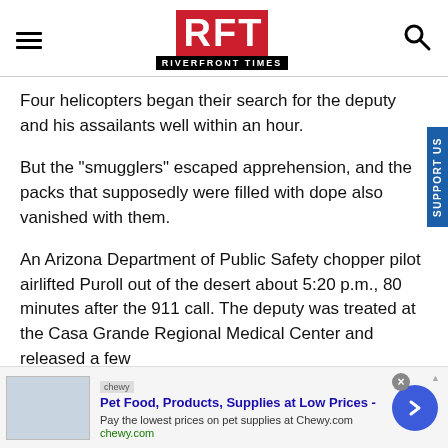RFT RIVERFRONT TIMES
Four helicopters began their search for the deputy and his assailants well within an hour.
But the "smugglers" escaped apprehension, and the packs that supposedly were filled with dope also vanished with them.
An Arizona Department of Public Safety chopper pilot airlifted Puroll out of the desert about 5:20 p.m., 80 minutes after the 911 call. The deputy was treated at the Casa Grande Regional Medical Center and released a few
[Figure (other): Advertisement banner for Chewy.com: Pet Food, Products, Supplies at Low Prices]